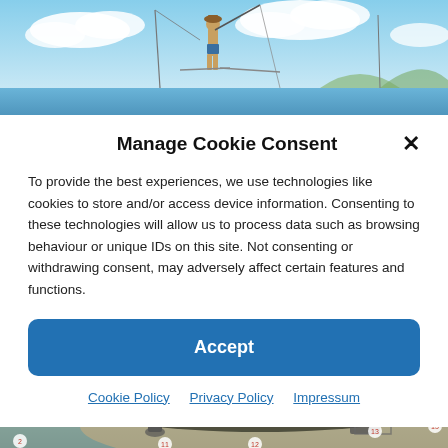[Figure (photo): Photo of a person standing on a boat or dock with fishing rods, blue sky with clouds in the background, coastal/ocean scene.]
Manage Cookie Consent
To provide the best experiences, we use technologies like cookies to store and/or access device information. Consenting to these technologies will allow us to process data such as browsing behaviour or unique IDs on this site. Not consenting or withdrawing consent, may adversely affect certain features and functions.
Accept
Cookie Policy   Privacy Policy   Impressum
[Figure (photo): Underwater or shallow water scene showing a shipwreck or submerged aircraft/submarine wreck on a sandy seafloor, with numbered markers indicating various parts of the wreck.]